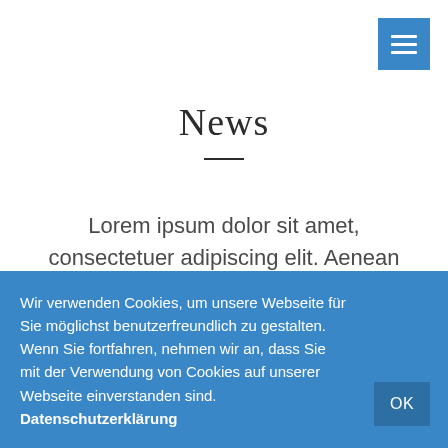[Figure (other): Blue square menu/hamburger button with three white horizontal bars in the top-right corner]
News
Lorem ipsum dolor sit amet, consectetuer adipiscing elit. Aenean commodo ligula eget dolor. Aenean massa.
Wir verwenden Cookies, um unsere Webseite für Sie möglichst benutzerfreundlich zu gestalten. Wenn Sie fortfahren, nehmen wir an, dass Sie mit der Verwendung von Cookies auf unserer Webseite einverstanden sind. Datenschutzerklärung